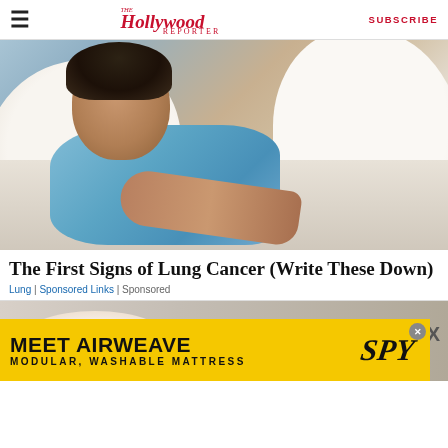The Hollywood Reporter | SUBSCRIBE
[Figure (photo): Man sleeping in bed with mouth open, wearing a light blue t-shirt, lying on white pillows with white bedding]
The First Signs of Lung Cancer (Write These Down)
Lung | Sponsored Links | Sponsored
[Figure (photo): Partial view of a second article image showing a person in bed, with an X close button]
[Figure (infographic): Yellow advertisement banner: MEET AIRWEAVE MODULAR, WASHABLE MATTRESS with SPY logo]